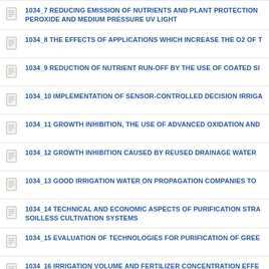1034_7 REDUCING EMISSION OF NUTRIENTS AND PLANT PROTECTION PEROXIDE AND MEDIUM PRESSURE UV LIGHT
1034_8 THE EFFECTS OF APPLICATIONS WHICH INCREASE THE O2 OF T
1034_9 REDUCTION OF NUTRIENT RUN-OFF BY THE USE OF COATED SI
1034_10 IMPLEMENTATION OF SENSOR-CONTROLLED DECISION IRRIGA
1034_11 GROWTH INHIBITION, THE USE OF ADVANCED OXIDATION AND
1034_12 GROWTH INHIBITION CAUSED BY REUSED DRAINAGE WATER
1034_13 GOOD IRRIGATION WATER ON PROPAGATION COMPANIES TO
1034_14 TECHNICAL AND ECONOMIC ASPECTS OF PURIFICATION STRA SOILLESS CULTIVATION SYSTEMS
1034_15 EVALUATION OF TECHNOLOGIES FOR PURIFICATION OF GREE
1034_16 IRRIGATION VOLUME AND FERTILIZER CONCENTRATION EFFE